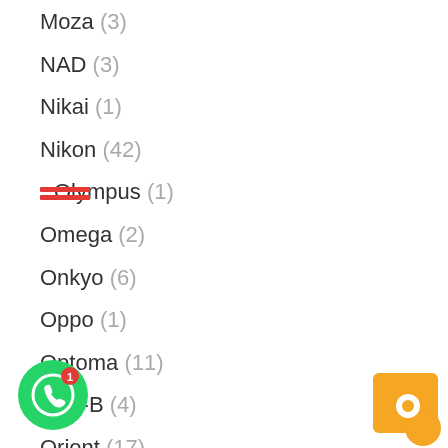Moza (3)
NAD (3)
Nikai (1)
Nikon (42)
Olympus (1)
Omega (2)
Onkyo (6)
Oppo (1)
Optoma (11)
Oral-B (4)
Orient (17)
...ic (178)
PEL (3)